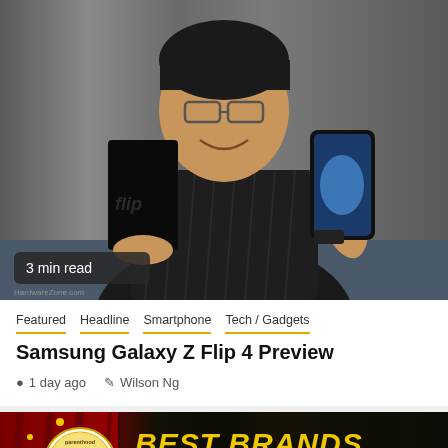[Figure (photo): Man holding two Samsung Galaxy Z Flip phones, smiling at camera, gray curtain background. Badge reads '3 min read'.]
Featured  Headline  Smartphone  Tech / Gadgets
Samsung Galaxy Z Flip 4 Preview
1 day ago   Wilson Ng
[Figure (photo): Award event photo: Parents' Choice Awards 2022 badge on left, 'Best Brands of the Year' golden text on dark background, person visible in center.]